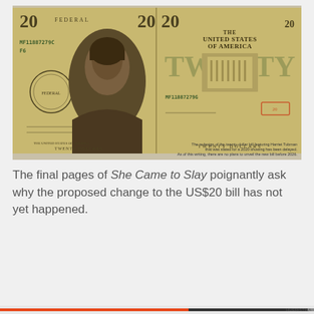[Figure (photo): A redesigned US $20 bill featuring Harriet Tubman on the front, shown folded open displaying both the front (with portrait and serial number MF11887279C, F6) and back (with denomination and serial number) of the bill.]
The redesign of the twenty-dollar bill featuring Harriet Tubman that was slated for a 2020 showing has been delayed. As of this writing, there are no plans to unveil the new bill before 2026.
The final pages of She Came to Slay poignantly ask why the proposed change to the US$20 bill has not yet happened.
Privacy & Cookies: This site uses cookies. By continuing to use this website, you agree to their use.
To find out more, including how to control cookies, see here: Cookie Policy